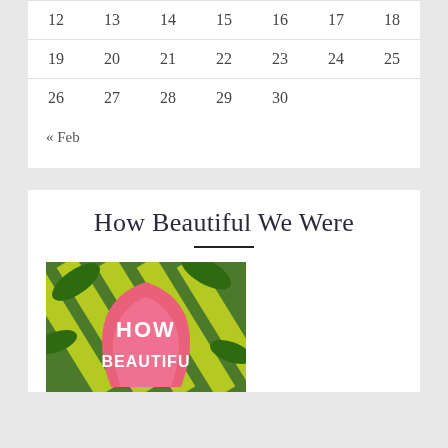| 12 | 13 | 14 | 15 | 16 | 17 | 18 |
| 19 | 20 | 21 | 22 | 23 | 24 | 25 |
| 26 | 27 | 28 | 29 | 30 |  |  |
« Feb
How Beautiful We Were
[Figure (photo): Book cover of 'How Beautiful We Were' showing colorful graphic design with pink flames and green/yellow patterns with the title text HOW BEAUTIFUL in white letters]